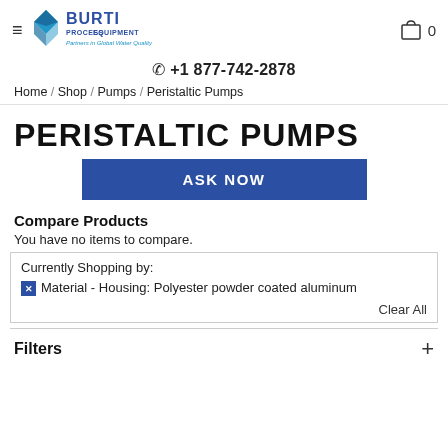BURTI PROCESS EQUIPMENT – Partners in Global Water Quality | Cart 0
☎ +1 877-742-2878
Home / Shop / Pumps / Peristaltic Pumps
PERISTALTIC PUMPS
ASK NOW
Compare Products
You have no items to compare.
Currently Shopping by:
✕ Material - Housing: Polyester powder coated aluminum
Clear All
Filters